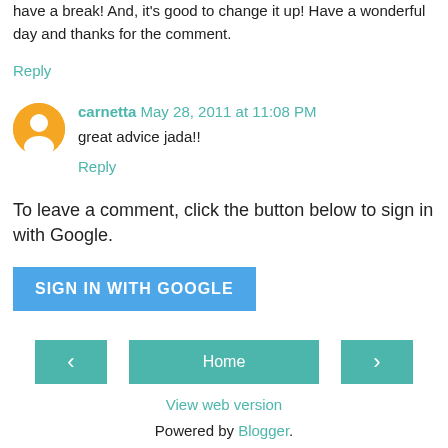have a break! And, it's good to change it up! Have a wonderful day and thanks for the comment.
Reply
carnetta  May 28, 2011 at 11:08 PM
great advice jada!!
Reply
To leave a comment, click the button below to sign in with Google.
SIGN IN WITH GOOGLE
Home
View web version
Powered by Blogger.